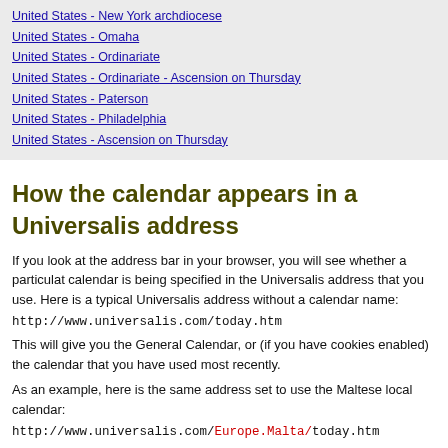United States - New York archdiocese
United States - Omaha
United States - Ordinariate
United States - Ordinariate - Ascension on Thursday
United States - Paterson
United States - Philadelphia
United States - Ascension on Thursday
How the calendar appears in a Universalis address
If you look at the address bar in your browser, you will see whether a particulat calendar is being specified in the Universalis address that you use. Here is a typical Universalis address without a calendar name:
http://www.universalis.com/today.htm
This will give you the General Calendar, or (if you have cookies enabled) the calendar that you have used most recently.
As an example, here is the same address set to use the Maltese local calendar:
http://www.universalis.com/Europe.Malta/today.htm
You can use this information to check that the right calendar is